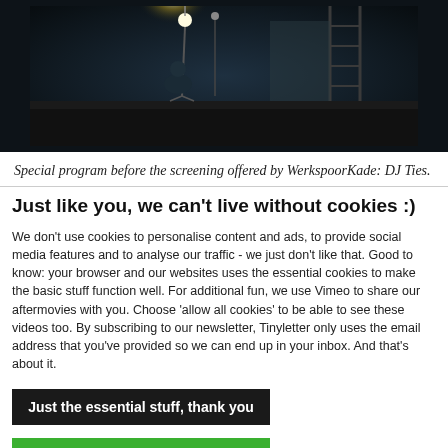[Figure (photo): Dark atmospheric photo of a person sitting in a dimly lit industrial space with a bright light source above, scaffolding or ladder visible on the right side]
Special program before the screening offered by WerkspoorKade: DJ Ties.
Just like you, we can't live without cookies :)
We don't use cookies to personalise content and ads, to provide social media features and to analyse our traffic - we just don't like that. Good to know: your browser and our websites uses the essential cookies to make the basic stuff function well. For additional fun, we use Vimeo to share our aftermovies with you. Choose 'allow all cookies' to be able to see these videos too. By subscribing to our newsletter, Tinyletter only uses the email address that you've provided so we can end up in your inbox. And that's about it.
Just the essential stuff, thank you
Allow all cookies so I can see videos!